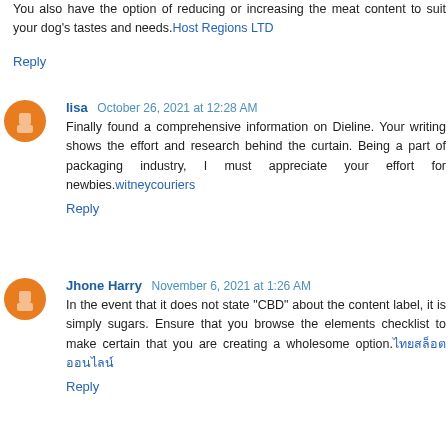You also have the option of reducing or increasing the meat content to suit your dog's tastes and needs. Host Regions LTD
Reply
lisa October 26, 2021 at 12:28 AM
Finally found a comprehensive information on Dieline. Your writing shows the effort and research behind the curtain. Being a part of packaging industry, I must appreciate your effort for newbies. witneycouriers
Reply
Jhone Harry November 6, 2021 at 1:26 AM
In the event that it does not state "CBD" about the content label, it is simply sugars. Ensure that you browse the elements checklist to make certain that you are creating a wholesome option. ไทยสล็อตออนไลน์
Reply